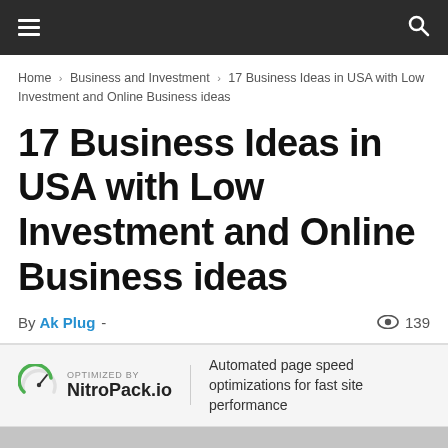≡ [hamburger menu] [search icon]
Home › Business and Investment › 17 Business Ideas in USA with Low Investment and Online Business ideas
17 Business Ideas in USA with Low Investment and Online Business ideas
By Ak Plug - 👁 139
[Figure (logo): NitroPack.io logo with speedometer icon and text 'OPTIMIZED BY NitroPack.io']
Automated page speed optimizations for fast site performance